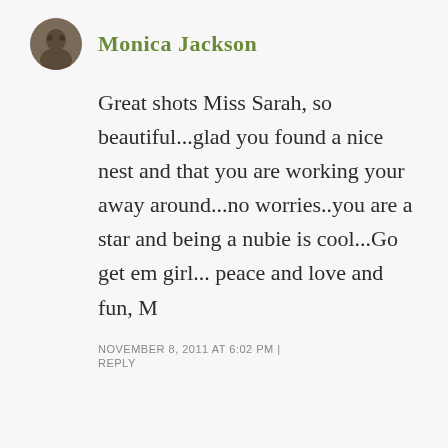[Figure (photo): Circular avatar photo of commenter Monica Jackson]
Monica Jackson
Great shots Miss Sarah, so beautiful...glad you found a nice nest and that you are working your away around...no worries..you are a star and being a nubie is cool...Go get em girl... peace and love and fun, M
NOVEMBER 8, 2011 AT 6:02 PM | REPLY